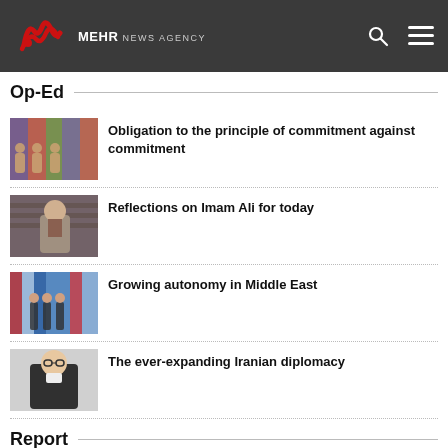MEHR NEWS AGENCY
Op-Ed
Obligation to the principle of commitment against commitment
Reflections on Imam Ali for today
Growing autonomy in Middle East
The ever-expanding Iranian diplomacy
Report
Iran politicians, scientists victims of west-backed terrorism